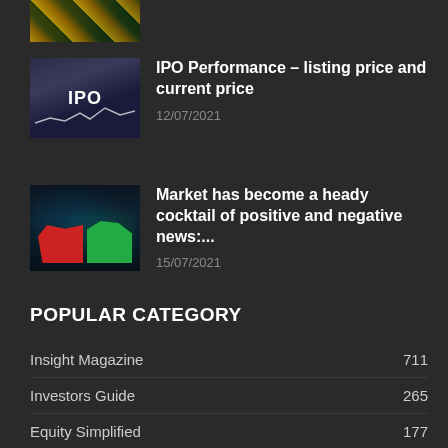[Figure (photo): Partial view of financial/investment themed image at top]
[Figure (photo): IPO themed image showing person pointing at IPO text with stock chart lines]
IPO Performance – listing price and current price
12/07/2021
[Figure (photo): Stock market bull and bear chart image with glowing effects]
Market has become a heady cocktail of positive and negative news:...
15/07/2021
POPULAR CATEGORY
Insight Magazine 711
Investors Guide 265
Equity Simplified 177
Economy And You 114
Knowledge Bites 104